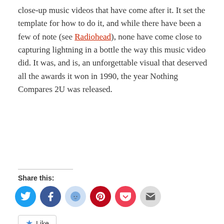close-up music videos that have come after it. It set the template for how to do it, and while there have been a few of note (see Radiohead), none have come close to capturing lightning in a bottle the way this music video did. It was, and is, an unforgettable visual that deserved all the awards it won in 1990, the year Nothing Compares 2U was released.
Share this:
[Figure (infographic): A row of social sharing icon buttons: Twitter (blue), Facebook (blue), Reddit (light blue), Pinterest (dark red), Pocket (red), Email (grey)]
Like
Be the first to like this.